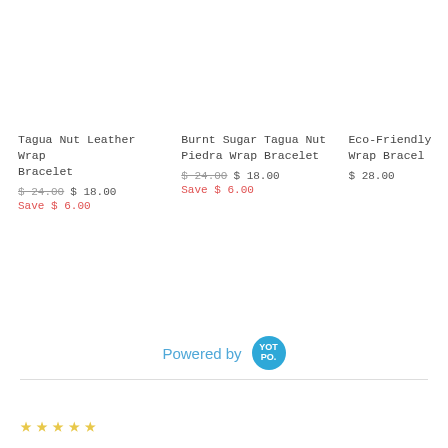Tagua Nut Leather Wrap Bracelet
$24.00  $18.00
Save $6.00
Burnt Sugar Tagua Nut Piedra Wrap Bracelet
$24.00  $18.00
Save $6.00
Eco-Friendly Wrap Bracelet
$28.00
Powered by YOTPO
[Figure (other): Five empty star rating icons in gold/yellow outline]